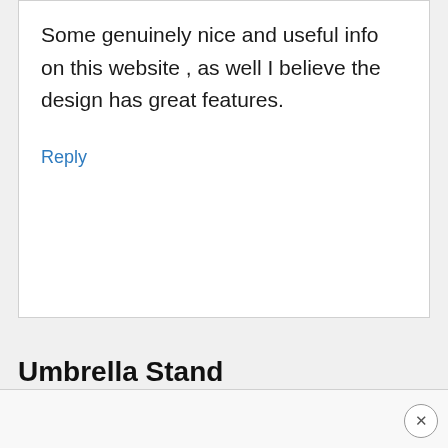Some genuinely nice and useful info on this website , as well I believe the design has great features.
Reply
Umbrella Stand